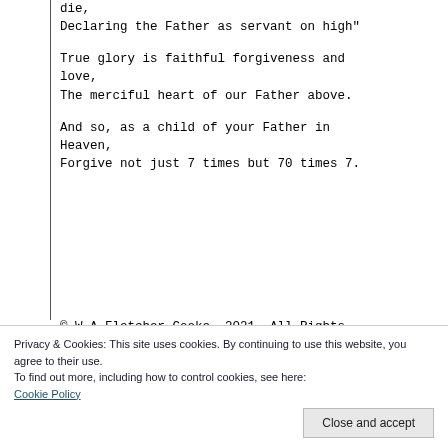die,
Declaring the Father as servant on high"
True glory is faithful forgiveness and love,
The merciful heart of our Father above.
And so, as a child of your Father in Heaven,
Forgive not just 7 times but 70 times 7.
© W A Fletcher-Cooke, 2021. All Rights Reserved
Privacy & Cookies: This site uses cookies. By continuing to use this website, you agree to their use.
To find out more, including how to control cookies, see here:
Cookie Policy
Close and accept